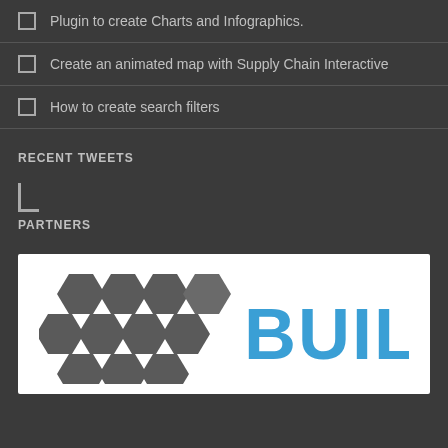Plugin to create Charts and Infographics.
Create an animated map with Supply Chain Interactive
How to create search filters
RECENT TWEETS
PARTNERS
[Figure (logo): BUILDER logo with hexagonal pattern on left and bold blue BUILDER text on right, on white background]
ABOUT US